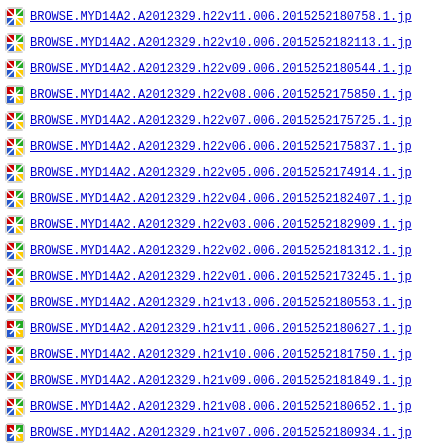BROWSE.MYD14A2.A2012329.h22v11.006.2015252180758.1.jp
BROWSE.MYD14A2.A2012329.h22v10.006.2015252182113.1.jp
BROWSE.MYD14A2.A2012329.h22v09.006.2015252180544.1.jp
BROWSE.MYD14A2.A2012329.h22v08.006.2015252175850.1.jp
BROWSE.MYD14A2.A2012329.h22v07.006.2015252175725.1.jp
BROWSE.MYD14A2.A2012329.h22v06.006.2015252175837.1.jp
BROWSE.MYD14A2.A2012329.h22v05.006.2015252174914.1.jp
BROWSE.MYD14A2.A2012329.h22v04.006.2015252182407.1.jp
BROWSE.MYD14A2.A2012329.h22v03.006.2015252182909.1.jp
BROWSE.MYD14A2.A2012329.h22v02.006.2015252181312.1.jp
BROWSE.MYD14A2.A2012329.h22v01.006.2015252173245.1.jp
BROWSE.MYD14A2.A2012329.h21v13.006.2015252180553.1.jp
BROWSE.MYD14A2.A2012329.h21v11.006.2015252180627.1.jp
BROWSE.MYD14A2.A2012329.h21v10.006.2015252181750.1.jp
BROWSE.MYD14A2.A2012329.h21v09.006.2015252181849.1.jp
BROWSE.MYD14A2.A2012329.h21v08.006.2015252180652.1.jp
BROWSE.MYD14A2.A2012329.h21v07.006.2015252180934.1.jp